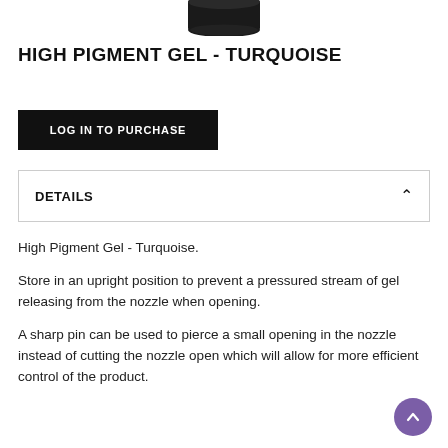[Figure (photo): Bottom portion of a dark product container (High Pigment Gel - Turquoise) shown at the top of the page]
HIGH PIGMENT GEL - TURQUOISE
LOG IN TO PURCHASE
DETAILS
High Pigment Gel - Turquoise.

Store in an upright position to prevent a pressured stream of gel releasing from the nozzle when opening.

A sharp pin can be used to pierce a small opening in the nozzle instead of cutting the nozzle open which will allow for more efficient control of the product.